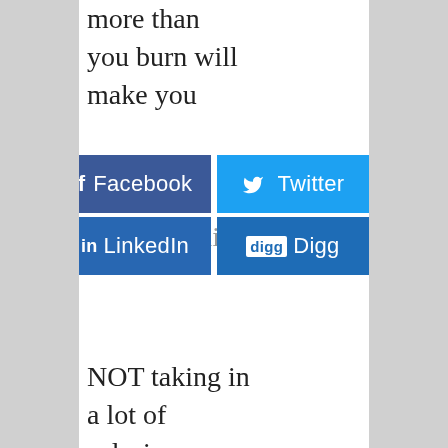more than you burn will make you
[Figure (infographic): Social sharing buttons: Facebook (dark blue), Twitter (light blue), LinkedIn (dark blue), Digg (dark blue)]
Ignoring this... but NOT taking in a lot of calories so you can lose weight.. then you end up not losing anything.. metabolism? post menopausal ? what is the